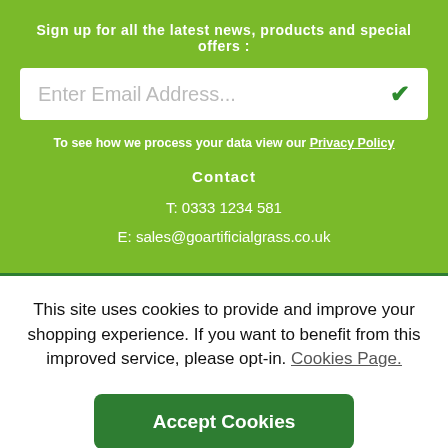Sign up for all the latest news, products and special offers :
Enter Email Address...
To see how we process your data view our Privacy Policy
Contact
T: 0333 1234 581
E: sales@goartificialgrass.co.uk
This site uses cookies to provide and improve your shopping experience. If you want to benefit from this improved service, please opt-in. Cookies Page.
Accept Cookies